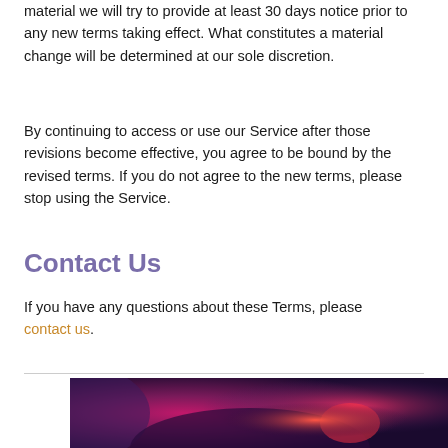material we will try to provide at least 30 days notice prior to any new terms taking effect. What constitutes a material change will be determined at our sole discretion.
By continuing to access or use our Service after those revisions become effective, you agree to be bound by the revised terms. If you do not agree to the new terms, please stop using the Service.
Contact Us
If you have any questions about these Terms, please contact us.
[Figure (photo): Photo of headphones or audio equipment with pink/purple neon lighting]